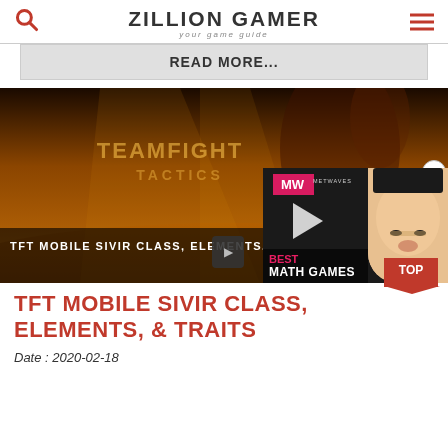ZILLION GAMER — your game guide
READ MORE...
[Figure (screenshot): Teamfight Tactics promotional banner image showing a fantasy character with the text 'TFT MOBILE SIVIR CLASS, ELEMENTS, & TRAITS' overlaid, and an advertisement overlay for 'BEST MATH GAMES' by MetWater.]
TFT MOBILE SIVIR CLASS, ELEMENTS, & TRAITS
Date : 2020-02-18